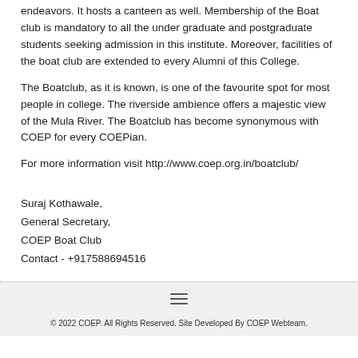endeavors. It hosts a canteen as well. Membership of the Boat club is mandatory to all the under graduate and postgraduate students seeking admission in this institute. Moreover, facilities of the boat club are extended to every Alumni of this College.
The Boatclub, as it is known, is one of the favourite spot for most people in college. The riverside ambience offers a majestic view of the Mula River. The Boatclub has become synonymous with COEP for every COEPian.
For more information visit http://www.coep.org.in/boatclub/
Suraj Kothawale,
General Secretary,
COEP Boat Club
Contact - +917588694516
© 2022 COEP. All Rights Reserved. Site Developed By COEP Webteam.